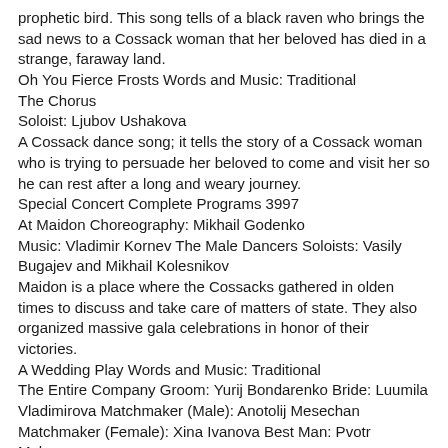prophetic bird. This song tells of a black raven who brings the sad news to a Cossack woman that her beloved has died in a strange, faraway land.
Oh You Fierce Frosts Words and Music: Traditional
The Chorus
Soloist: Ljubov Ushakova
A Cossack dance song; it tells the story of a Cossack woman who is trying to persuade her beloved to come and visit her so he can rest after a long and weary journey.
Special Concert Complete Programs 3997
At Maidon Choreography: Mikhail Godenko
Music: Vladimir Kornev The Male Dancers Soloists: Vasily Bugajev and Mikhail Kolesnikov
Maidon is a place where the Cossacks gathered in olden times to discuss and take care of matters of state. They also organized massive gala celebrations in honor of their victories.
A Wedding Play Words and Music: Traditional
The Entire Company Groom: Yurij Bondarenko Bride: Luumila Vladimirova Matchmaker (Male): Anotolij Mesechan Matchmaker (Female): Xina Ivanova Best Man: Pvotr Makarov
A vocal and choreographic work consisting of some of the traditional "round" dances and ritualistic songs which are performed during the wedding celebration.